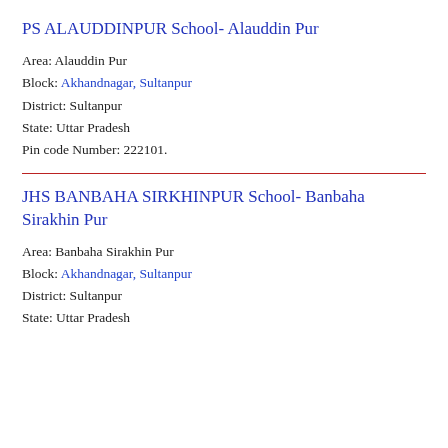PS ALAUDDINPUR School- Alauddin Pur
Area: Alauddin Pur
Block: Akhandnagar, Sultanpur
District: Sultanpur
State: Uttar Pradesh
Pin code Number: 222101.
JHS BANBAHA SIRKHINPUR School- Banbaha Sirakhin Pur
Area: Banbaha Sirakhin Pur
Block: Akhandnagar, Sultanpur
District: Sultanpur
State: Uttar Pradesh